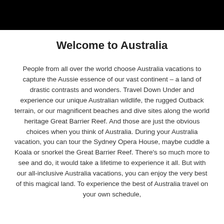[Figure (other): Black header bar at the top of the page]
Welcome to Australia
People from all over the world choose Australia vacations to capture the Aussie essence of our vast continent – a land of drastic contrasts and wonders. Travel Down Under and experience our unique Australian wildlife, the rugged Outback terrain, or our magnificent beaches and dive sites along the world heritage Great Barrier Reef. And those are just the obvious choices when you think of Australia. During your Australia vacation, you can tour the Sydney Opera House, maybe cuddle a Koala or snorkel the Great Barrier Reef. There's so much more to see and do, it would take a lifetime to experience it all. But with our all-inclusive Australia vacations, you can enjoy the very best of this magical land. To experience the best of Australia travel on your own schedule,